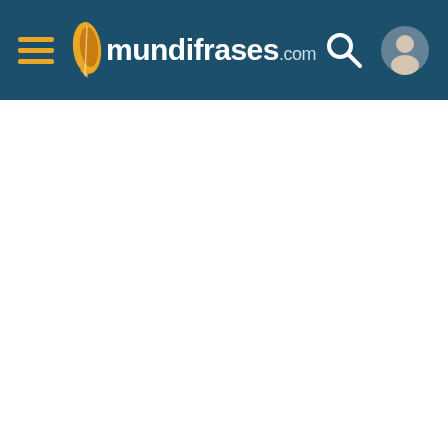[Figure (screenshot): mundifrases.com website navigation bar with hamburger menu icon on the left, the mundifrases.com logo in the center (feather icon + text), and search and user profile icons on the right, on a dark teal background. The rest of the page is white/blank.]